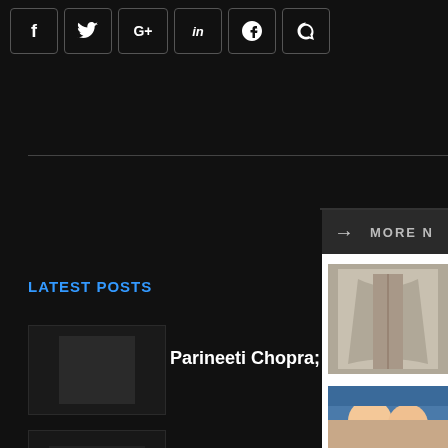[Figure (screenshot): Social media share buttons row: Facebook (f), Twitter bird, Google+ (G+), LinkedIn (in), Pinterest (p), Telegram icons in dark bordered boxes]
LATEST POSTS
[Figure (photo): Dark thumbnail image for Parineeti Chopra post]
Parineeti Chopra; Fat
[Figure (photo): Dark thumbnail image for Can You Eat an Intuition post]
Can You Eat an Intuit
[Figure (photo): Dark thumbnail image for Biden Vows post]
Biden Vows Enough G for Every Adult in Ma
[Figure (screenshot): MORE N header bar with arrow on dark background]
[Figure (photo): Photo of a gray suit jacket/blazer on hanger]
What a your m
[Figure (photo): Photo of two men smiling together wearing blue shirts]
Stepp Billion
[Figure (photo): Photo of a hand with rings/nail polish]
Lymph think y bullet